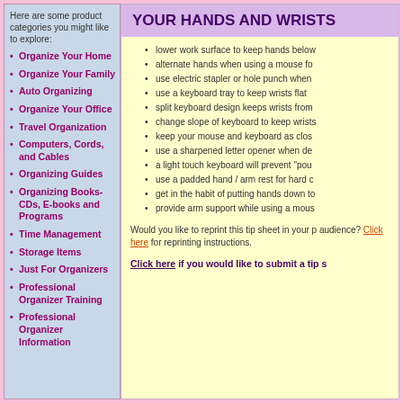Here are some product categories you might like to explore:
Organize Your Home
Organize Your Family
Auto Organizing
Organize Your Office
Travel Organization
Computers, Cords, and Cables
Organizing Guides
Organizing Books-CDs, E-books and Programs
Time Management
Storage Items
Just For Organizers
Professional Organizer Training
Professional Organizer Information
YOUR HANDS AND WRISTS
lower work surface to keep hands below
alternate hands when using a mouse fo
use electric stapler or hole punch when
use a keyboard tray to keep wrists flat
split keyboard design keeps wrists from
change slope of keyboard to keep wrists
keep your mouse and keyboard as clos
use a sharpened letter opener when de
a light touch keyboard will prevent "pou
use a padded hand / arm rest for hard c
get in the habit of putting hands down to
provide arm support while using a mous
Would you like to reprint this tip sheet in your p audience? Click here for reprinting instructions.
Click here if you would like to submit a tip s